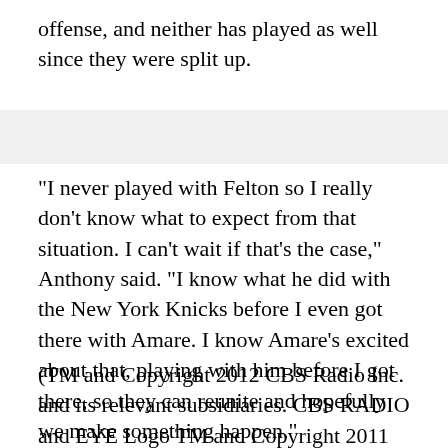offense, and neither has played as well since they were split up.
"I never played with Felton so I really don't know what to expect from that situation. I can't wait if that's the case," Anthony said. "I know what he did with the New York Knicks before I even got there with Amare. I know Amare's excited about that, playing with him before I got there, so they can reunite and hopefully we make something happen."
(TM and Copyright 2012 CBS Radio Inc. and its relevant subsidiaries. CBS RADIO and EYE Logo TM and Copyright 2011 CBS Broadcasting Inc. Used under license. All Rights Reserved. This material may